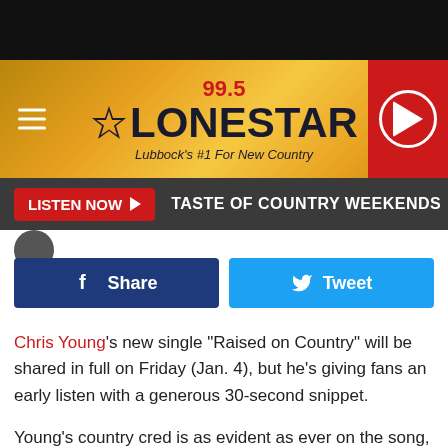[Figure (screenshot): 99.5 Lonestar radio station banner with golden background, burger menu, star logo, and red play button]
[Figure (screenshot): Listen Now button bar with dark background showing TASTE OF COUNTRY WEEKENDS text]
[Figure (screenshot): Facebook Share and Twitter Tweet social sharing buttons]
Chris Young's new single "Raised on Country" will be shared in full on Friday (Jan. 4), but he's giving fans an early listen with a generous 30-second snippet.
Young's country cred is as evident as ever on the song, with its traditional instrumentation and his familiar, booming vocals: